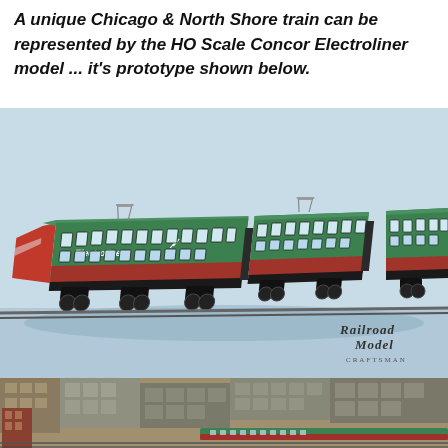A unique Chicago & North Shore train can be represented by the HO Scale Concor Electroliner model ... it's prototype shown below.
[Figure (photo): HO Scale Concor Electroliner model train — a streamlined green and red articulated passenger train set photographed against a light blue-grey background. The train has pantographs on top and reads 'Electroliner' on the side. Railroad Model Craftsman watermark visible at bottom right.]
[Figure (photo): Aerial/elevated view of an urban cityscape with brick industrial and commercial buildings. An Electroliner train (green with red stripe) is visible running along elevated tracks at the bottom right of the image.]